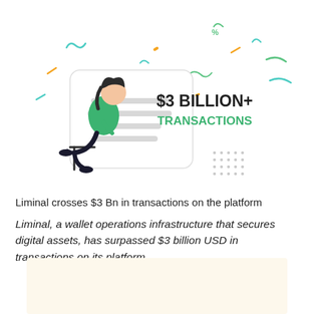[Figure (illustration): Illustration of a person sitting and looking at a document card, with decorative confetti elements around. Text on card area shows '$3 BILLION+ TRANSACTIONS' in bold dark and green text.]
Liminal crosses $3 Bn in transactions on the platform
Liminal, a wallet operations infrastructure that secures digital assets, has surpassed $3 billion USD in transactions on its platform.
[Figure (other): Cream/beige colored rectangular background block at the bottom of the page.]